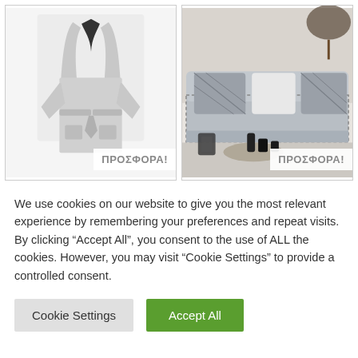[Figure (photo): Gray bathrobe product photo on white background with ΠΡΟΣΦΟΡΑ! badge]
[Figure (photo): Gray sofa with patterned throw and pillows, decorative items, with ΠΡΟΣΦΟΡΑ! badge]
We use cookies on our website to give you the most relevant experience by remembering your preferences and repeat visits. By clicking “Accept All”, you consent to the use of ALL the cookies. However, you may visit “Cookie Settings” to provide a controlled consent.
Cookie Settings
Accept All